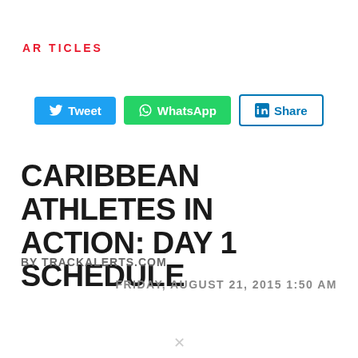ARTICLES
[Figure (other): Social share buttons: Tweet (Twitter, blue), WhatsApp (green), Share (LinkedIn, white/blue outline)]
CARIBBEAN ATHLETES IN ACTION: DAY 1 SCHEDULE
BY TRACKALERTS.COM
FRIDAY, AUGUST 21, 2015 1:50 AM